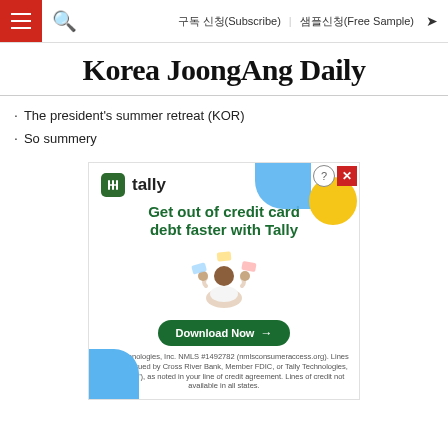≡  🔍  구독 신청(Subscribe)  샘플신청(Free Sample)  ➤
Korea JoongAng Daily
· The president's summer retreat (KOR)
· So summery
[Figure (other): Tally advertisement: 'Get out of credit card debt faster with Tally' with a Download Now button, decorative colored shapes, and legal disclaimer text from TallyTechnologies Inc.]